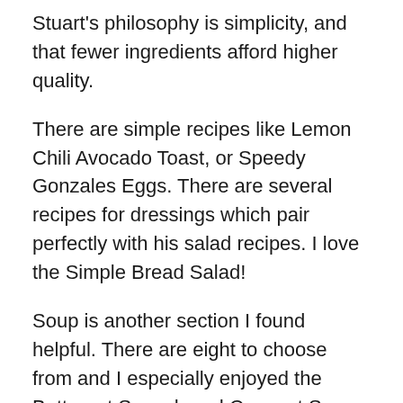Stuart's philosophy is simplicity, and that fewer ingredients afford higher quality.
There are simple recipes like Lemon Chili Avocado Toast, or Speedy Gonzales Eggs. There are several recipes for dressings which pair perfectly with his salad recipes. I love the Simple Bread Salad!
Soup is another section I found helpful. There are eight to choose from and I especially enjoyed the Butternut Squash and Coconut Soup. Stuart's Irish Yankee Mac and Cheese is easy peasy and I loved the Minty Peas recipe as well.
If you're looking for gourmet recipes in a jiffy, you'll